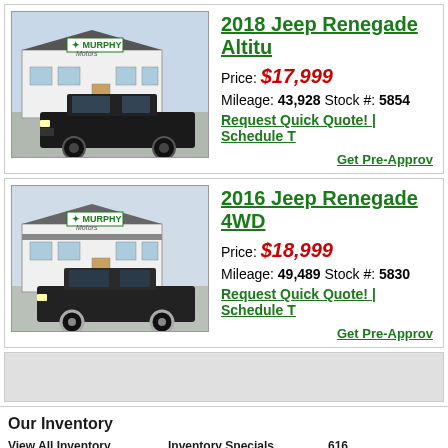[Figure (photo): Murphy Motors dealership building with a black Jeep Renegade parked in front, for the 2018 Jeep Renegade Altitude listing]
2018 Jeep Renegade Altitu
Price: $17,999
Mileage: 43,928 Stock #: 5854
Request Quick Quote! | Schedule T
Get Pre-Approv
[Figure (photo): Murphy Motors dealership building with a black Jeep Renegade 4WD parked in front, for the 2016 Jeep Renegade 4WD listing]
2016 Jeep Renegade 4WD
Price: $18,999
Mileage: 49,489 Stock #: 5830
Request Quick Quote! | Schedule T
Get Pre-Approv
Our Inventory | View All Inventory | Print Ads | Latest Inventory Email Alerts Sign-up | Products | Inventory Specials | Car Finder | About Us | Sitemap | 616 | Lin | Pho | Com